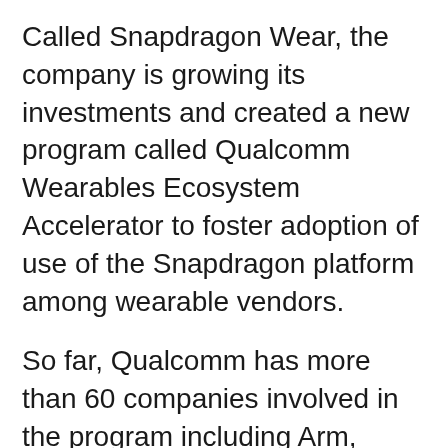Called Snapdragon Wear, the company is growing its investments and created a new program called Qualcomm Wearables Ecosystem Accelerator to foster adoption of use of the Snapdragon platform among wearable vendors.
So far, Qualcomm has more than 60 companies involved in the program including Arm, BBK, Fossil, Oppo, Verizon, Vodafone and Zebra.
Qualcomm said the wearables segment has been growing at a rapid pace with products targeted across all markets for consumer and enterprise use cases such as kids, teens, adults and...